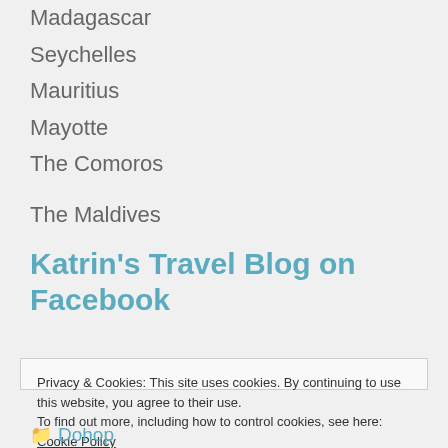Madagascar
Seychelles
Mauritius
Mayotte
The Comoros
The Maldives
Katrin's Travel Blog on Facebook
Privacy & Cookies: This site uses cookies. By continuing to use this website, you agree to their use.
To find out more, including how to control cookies, see here: Cookie Policy
Close and accept
Dohop